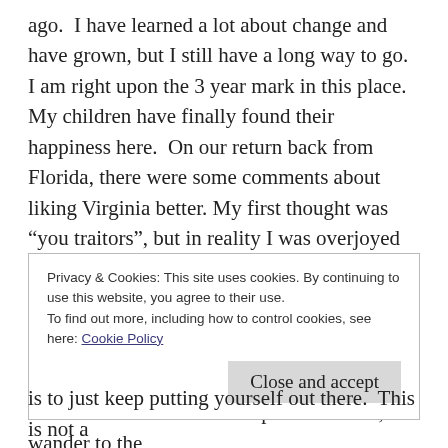ago.  I have learned a lot about change and have grown, but I still have a long way to go. I am right upon the 3 year mark in this place.  My children have finally found their happiness here.  On our return back from Florida, there were some comments about liking Virginia better.  My first thought was “you traitors”, but in reality I was overjoyed that their hearts are content here.  I am still restless.  I have realized it’s because I haven’t fully tried to “bloom where I’ve been planted”.  Home is wherever you make it.
Like a child on their first trip to the ocean, I wander to the edge of the roaring sea. As soon as the waves touch my
Privacy & Cookies: This site uses cookies. By continuing to use this website, you agree to their use.
To find out more, including how to control cookies, see here: Cookie Policy
is to just keep putting yourself out there.  This is not a